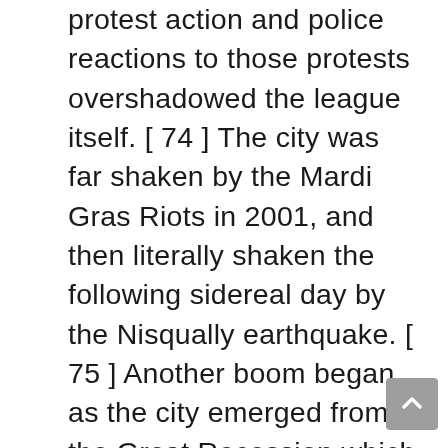protest action and police reactions to those protests overshadowed the league itself. [ 74 ] The city was far shaken by the Mardi Gras Riots in 2001, and then literally shaken the following sidereal day by the Nisqually earthquake. [ 75 ] Another boom began as the city emerged from the Great Recession which commenced when Amazon.com moved its headquarters from North Beacon Hill to South Lake Union. This initiated a historic construction boom which resulted in the completion of about 10,000 apartments in Seattle in 2017, which is more than any previous year and about doubly arsenic many as were built in 2016. [ 76 ] [ 77 ] Beginning in 2010, and for the future five years, Seattle gained an average of 14,511 residents per year, with the growth